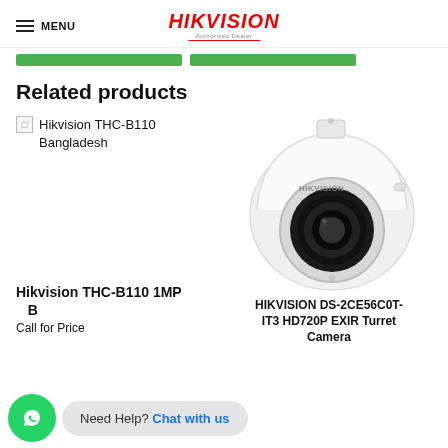MENU | HIKVISION
[Figure (other): Two green button/bar elements partially visible]
Related products
[Figure (other): Broken image placeholder for Hikvision THC-B110 Bangladesh]
[Figure (photo): Hikvision dome/turret CCTV camera, white with HIKVISION branding and black lens]
Hikvision THC-B110 1MP B
Call for Price
HIKVISION DS-2CE56C0T-IT3 HD720P EXIR Turret Camera
Need Help? Chat with us